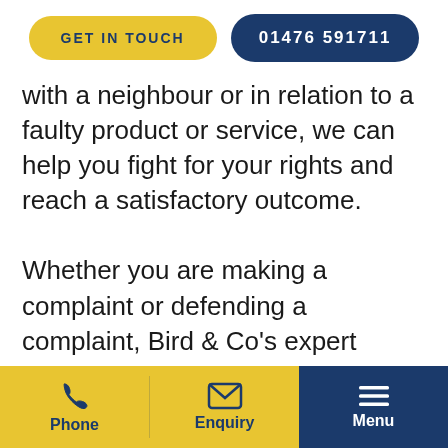GET IN TOUCH  01476 591711
with a neighbour or in relation to a faulty product or service, we can help you fight for your rights and reach a satisfactory outcome.

Whether you are making a complaint or defending a complaint, Bird & Co’s expert dispute resolution solicitors in Lincoln have a great deal of experience
Phone  Enquiry  Menu